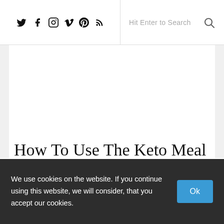Social icons: Twitter, Facebook, Instagram, Vimeo, Pinterest, RSS | Search: Hit Enter to Search
How To Use The Keto Meal Plan
Plan when you will be starting keto. Chose a good week to get started and then go for it. Don't stress about macros or
We use cookies on the website. If you continue using this website, we will consider, that you accept our cookies.